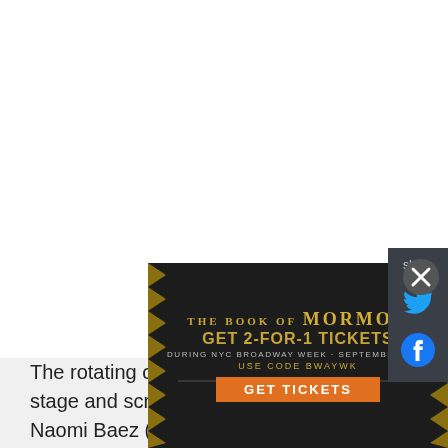share
[Figure (logo): Twitter bird icon (blue)]
[Figure (logo): Facebook logo icon (blue)]
The rotating cast features stars of stage and screen including Gina Naomi Baez (She's Gotta Have It, Triple Threat, Hunchback of Notre Dame, "Orange is the New Black"), Stephanie J. Block (The Cher Show, Falsettos, The Mystery of Edwin Drood, The
[Figure (infographic): The Book of Mormon advertisement banner. GET 2-FOR-1 TICKETS DURING NYC BROADWAY WEEK · SEPTEMBER 6-25 USE CODE BWAYWK GET TICKETS]